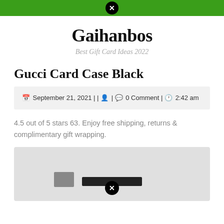Gaihanbos — Best Gift Card Ideas 2022
Gucci Card Case Black
September 21, 2021 | | 0 Comment | 2:42 am
4.5 out of 5 stars 63. Enjoy free shipping, returns & complimentary gift wrapping.
[Figure (photo): Product image placeholder for Gucci Card Case Black]